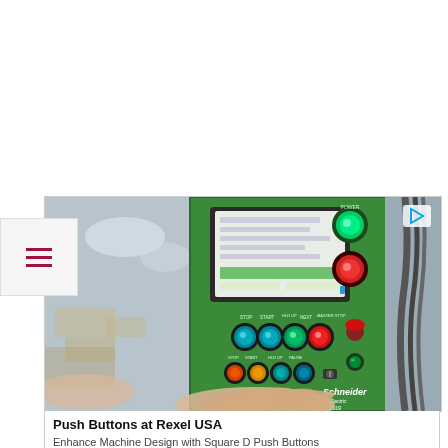[Figure (photo): A green Schneider Electric industrial control panel with push buttons (teal, green, red), a touchscreen display showing interface data, and a hand pressing a button. Labeled 'Schneider Electric 2019'. A play/video button icon is visible in the upper right corner of the image.]
Push Buttons at Rexel USA
Enhance Machine Design with Square D Push Buttons